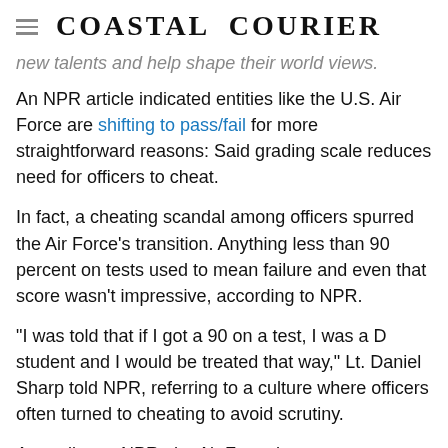Coastal Courier
new talents and help shape their world views.
An NPR article indicated entities like the U.S. Air Force are shifting to pass/fail for more straightforward reasons: Said grading scale reduces need for officers to cheat.
In fact, a cheating scandal among officers spurred the Air Force's transition. Anything less than 90 percent on tests used to mean failure and even that score wasn't impressive, according to NPR.
"I was told that if I got a 90 on a test, I was a D student and I would be treated that way," Lt. Daniel Sharp told NPR, referring to a culture where officers often turned to cheating to avoid scrutiny.
According to NPR, the Air Force has...